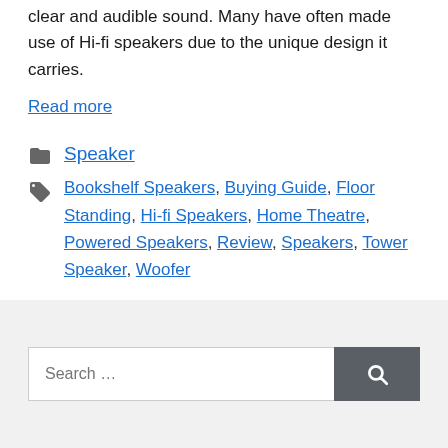clear and audible sound. Many have often made use of Hi-fi speakers due to the unique design it carries.
Read more
Categories: Speaker
Tags: Bookshelf Speakers, Buying Guide, Floor Standing, Hi-fi Speakers, Home Theatre, Powered Speakers, Review, Speakers, Tower Speaker, Woofer
Search …